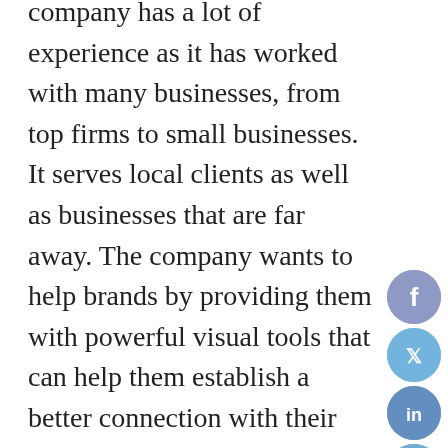company has a lot of experience as it has worked with many businesses, from top firms to small businesses. It serves local clients as well as businesses that are far away. The company wants to help brands by providing them with powerful visual tools that can help them establish a better connection with their customers and thrive as a result.

The team that the company has assembled consists of marketing and web design experts who will work diligently and use their creativity and technical skills to help elevate your brand. Connect Media Agency believes that one of its strongest suits is that experts from various disciplines namely web design, branding, graphic design and digital marketing work together to come up with the best solutions for the clients. The